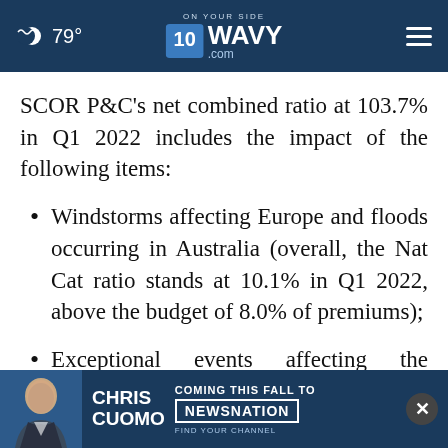79° WAVY.com ON YOUR SIDE 10
SCOR P&C's net combined ratio at 103.7% in Q1 2022 includes the impact of the following items:
Windstorms affecting Europe and floods occurring in Australia (overall, the Nat Cat ratio stands at 10.1% in Q1 2022, above the budget of 8.0% of premiums);
Exceptional events affecting the attritional loss and commission ratio, such as i) the ... ict in
[Figure (advertisement): Chris Cuomo Coming This Fall to NewsNation advertisement banner at the bottom of the page]